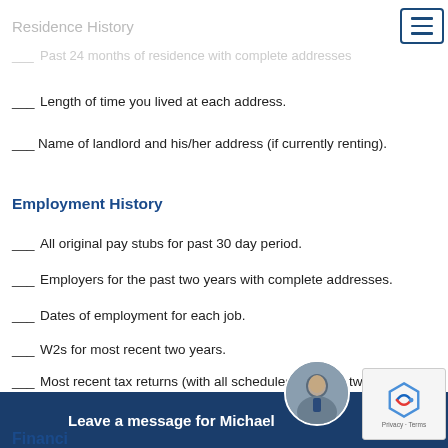Residence History
___ Past 24 months of residence with complete addresses
___ Length of time you lived at each address.
___ Name of landlord and his/her address (if currently renting).
Employment History
___ All original pay stubs for past 30 day period.
___ Employers for the past two years with complete addresses.
___ Dates of employment for each job.
___ W2s for most recent two years.
___ Most recent tax returns (with all schedules) for past two years.
___ If there have been any gaps in employment, prepared explanations.
Financi